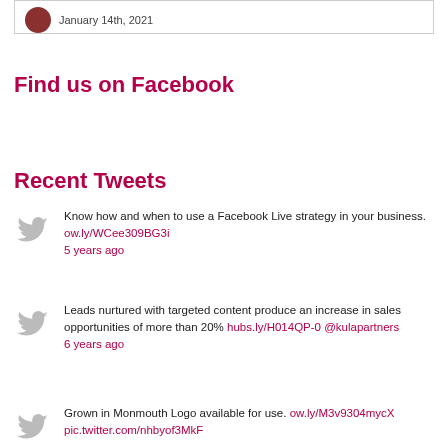[Figure (other): User avatar thumbnail with date text 'January 14th, 2021' inside a bordered box]
Find us on Facebook
Recent Tweets
Know how and when to use a Facebook Live strategy in your business. ow.ly/WCee309BG3i 5 years ago
Leads nurtured with targeted content produce an increase in sales opportunities of more than 20% hubs.ly/H014QP-0 @kulapartners 6 years ago
Grown in Monmouth Logo available for use. ow.ly/M3v9304mycX pic.twitter.com/nhbyof3MkF